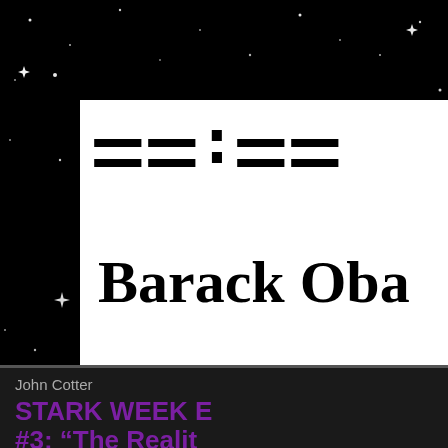[Figure (screenshot): Star field background — black background with white star sparkles scattered throughout]
THE COLETI (stylized magazine/website logo, partially visible)
Barack Oba[ma]
John Cotter
STARK WEEK E[VENT] #3: “The Realit[y of] Moths” — John